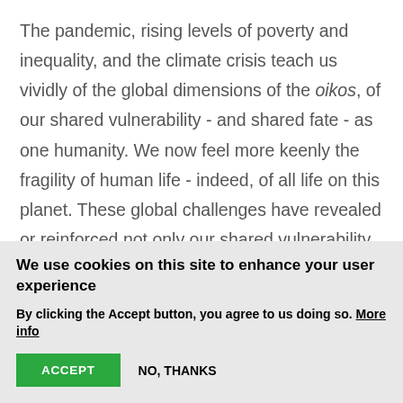The pandemic, rising levels of poverty and inequality, and the climate crisis teach us vividly of the global dimensions of the oikos, of our shared vulnerability - and shared fate - as one humanity. We now feel more keenly the fragility of human life - indeed, of all life on this planet. These global challenges have revealed or reinforced not only our shared vulnerability but also our fundamental community as humans, our solidarity across divides and borders, and
We use cookies on this site to enhance your user experience
By clicking the Accept button, you agree to us doing so. More info
ACCEPT   NO, THANKS